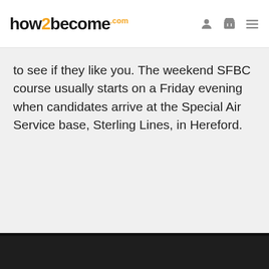how2become.com
to see if they like you. The weekend SFBC course usually starts on a Friday evening when candidates arrive at the Special Air Service base, Sterling Lines, in Hereford.
We are using cookies to give you the best experience on our website.
You can find out more about which cookies we are using or switch them off in settings.
Accept